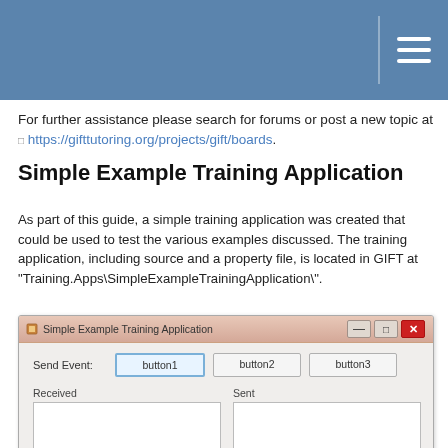For further assistance please search for forums or post a new topic at https://gifttutoring.org/projects/gift/boards.
Simple Example Training Application
As part of this guide, a simple training application was created that could be used to test the various examples discussed. The training application, including source and a property file, is located in GIFT at "Training.Apps\SimpleExampleTrainingApplication\".
[Figure (screenshot): Screenshot of Simple Example Training Application window with Send Event label and three buttons (button1, button2, button3), and two panels labeled Received and Sent]